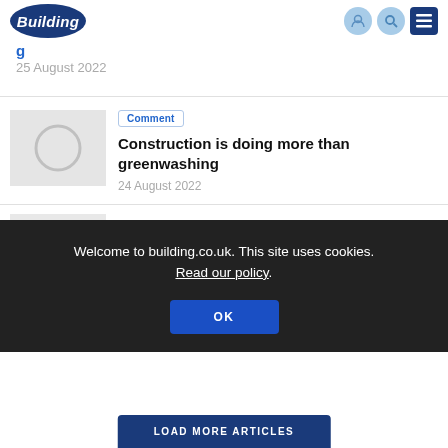Building
25 August 2022
Comment
Construction is doing more than greenwashing
24 August 2022
Welcome to building.co.uk. This site uses cookies. Read our policy.
OK
LOAD MORE ARTICLES